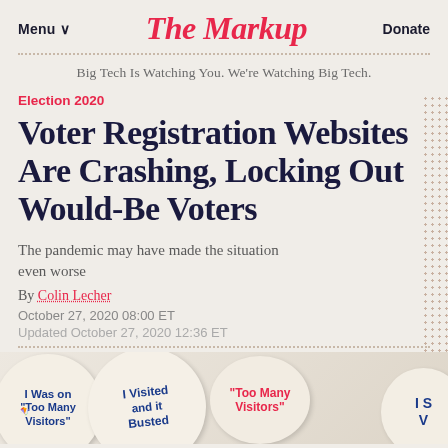Menu   The Markup   Donate
Big Tech Is Watching You. We're Watching Big Tech.
Election 2020
Voter Registration Websites Are Crashing, Locking Out Would-Be Voters
The pandemic may have made the situation even worse
By Colin Lecher
October 27, 2020 08:00 ET
Updated October 27, 2020 12:36 ET
[Figure (photo): Collection of circular stickers related to voter registration crashes, showing text like 'I Was on Too Many Visitors', 'I Visited and It Busted', 'Too Many Visitors', with small American flag decorations]